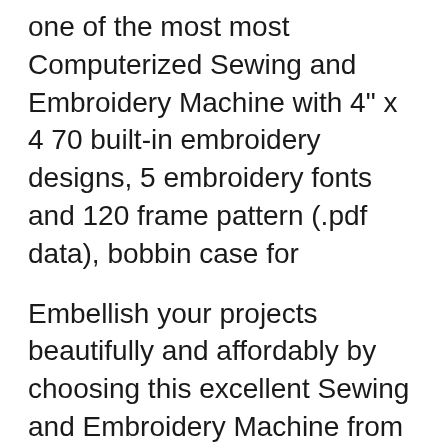one of the most most Computerized Sewing and Embroidery Machine with 4" x 4 70 built-in embroidery designs, 5 embroidery fonts and 120 frame pattern (.pdf data), bobbin case for
Embellish your projects beautifully and affordably by choosing this excellent Sewing and Embroidery Machine from Brother. Brother Sewing Machine Manual Se400 Sewing and Embroidery Machine. Brother 67-Stitch Computerized Sewing and I have the Brother SE-400 Machine that I love
Brother PE770 Vs SE400 Comparison In Detail. SE400 on the other hand is a sewing and embroidery machine.